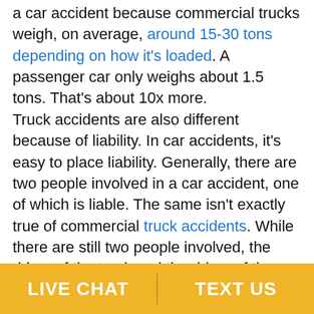a car accident because commercial trucks weigh, on average, around 15-30 tons depending on how it's loaded. A passenger car only weighs about 1.5 tons. That's about 10x more.

Truck accidents are also different because of liability. In car accidents, it's easy to place liability. Generally, there are two people involved in a car accident, one of which is liable. The same isn't exactly true of commercial truck accidents. While there are still two people involved, the driver of the truck and the driver of the car, there are
LIVE CHAT   TEXT US